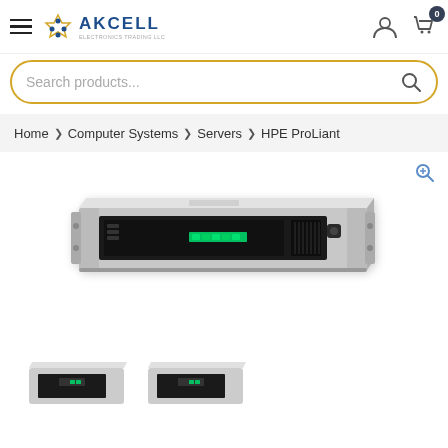[Figure (logo): Akcell Electronics Trading LLC logo with diamond/star icon and text]
Search products...
Home > Computer Systems > Servers > HPE ProLiant
[Figure (photo): HPE ProLiant 1U rack server, front view, silver and black with green drive indicators]
[Figure (photo): HPE ProLiant 1U rack server thumbnail 1, angled top view]
[Figure (photo): HPE ProLiant 1U rack server thumbnail 2, angled top view]